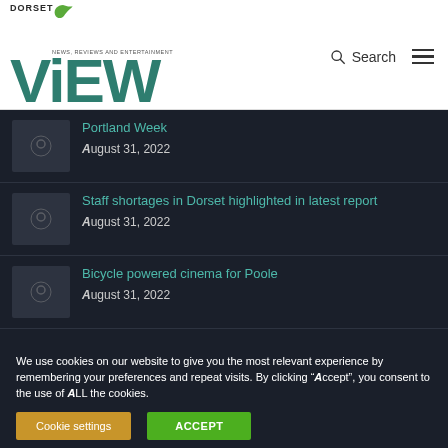DORSET VIEW - NEWS, REVIEWS AND ENTERTAINMENT
Portland Week - August 31, 2022
Staff shortages in Dorset highlighted in latest report - August 31, 2022
Bicycle powered cinema for Poole - August 31, 2022
We use cookies on our website to give you the most relevant experience by remembering your preferences and repeat visits. By clicking “Accept”, you consent to the use of ALL the cookies.